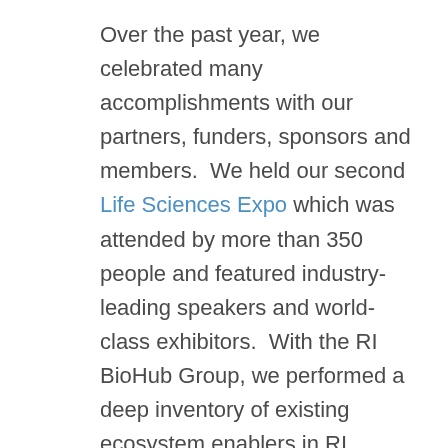Over the past year, we celebrated many accomplishments with our partners, funders, sponsors and members.  We held our second Life Sciences Expo which was attended by more than 350 people and featured industry-leading speakers and world-class exhibitors.  With the RI BioHub Group, we performed a deep inventory of existing ecosystem enablers in RI demonstrating the foundation is in place to grow, attract and retain Life Sciences companies, both large and small.  And, as the state's designated BIO affiliate, we represented RI at the 2018 BIO International Convention and helped to connect RI Life Sciences companies with global industry